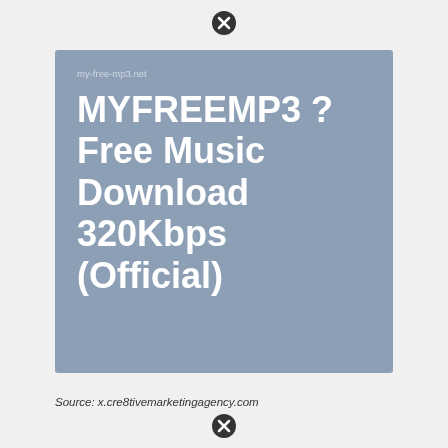have already been sorely disappointed.
[Figure (screenshot): A Pinterest-style card with a muted blue-grey background showing the website URL 'my-free-mp3.net' and the bold white title 'MYFREEMP3 ? Free Music Download 320Kbps (Official)']
Source: x.cre8tivemarketingagency.com